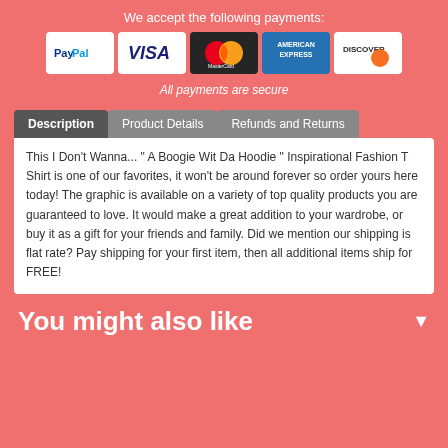We accept the following payments:
[Figure (infographic): Payment method logos: PayPal, VISA, MasterCard, American Express, Discover]
All payments are secure
Description | Product Details | Refunds and Returns (tabs)
This I Don't Wanna... " A Boogie Wit Da Hoodie " Inspirational Fashion T Shirt is one of our favorites, it won't be around forever so order yours here today! The graphic is available on a variety of top quality products you are guaranteed to love. It would make a great addition to your wardrobe, or buy it as a gift for your friends and family. Did we mention our shipping is flat rate? Pay shipping for your first item, then all additional items ship for FREE!
You might also like